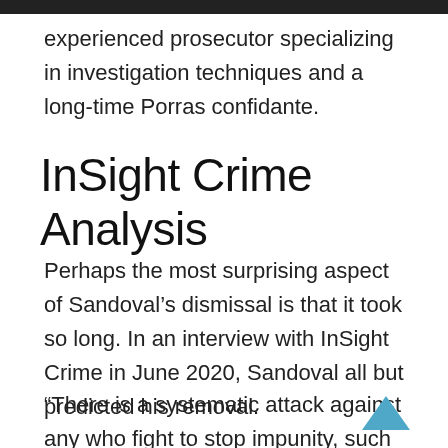experienced prosecutor specializing in investigation techniques and a long-time Porras confidante.
InSight Crime Analysis
Perhaps the most surprising aspect of Sandoval’s dismissal is that it took so long. In an interview with InSight Crime in June 2020, Sandoval all but predicted his removal.
“There is a systematic attack against any who fight to stop impunity, such as prosecutors, FECI and judges,” he said,